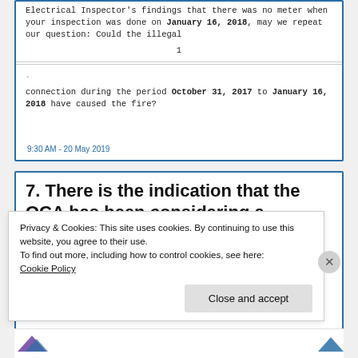Electrical Inspector's findings that there was no meter when your inspection was done on January 16, 2018, may we repeat our question: Could the illegal
1
connection during the period October 31, 2017 to January 16, 2018 have caused the fire?
9:30 AM - 20 May 2019
7. There is the indication that the OCA has been considering a number of levels of accountability both criminal and civil at the level of the facility, the
Privacy & Cookies: This site uses cookies. By continuing to use this website, you agree to their use.
To find out more, including how to control cookies, see here:
Cookie Policy
Close and accept